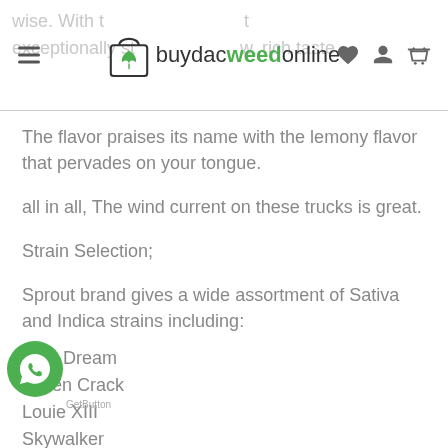buydacweedonline
The flavor praises its name with the lemony flavor that pervades on your tongue.
all in all, The wind current on these trucks is great.
Strain Selection;
Sprout brand gives a wide assortment of Sativa and Indica strains including:
Blue Dream
Green Crack
Louie XIII
Skywalker
Jack Herer